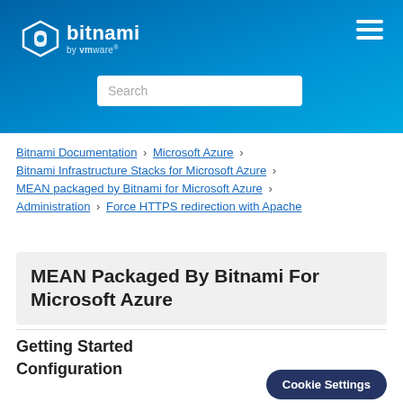Bitnami by VMware — navigation header with search
Bitnami Documentation > Microsoft Azure > Bitnami Infrastructure Stacks for Microsoft Azure > MEAN packaged by Bitnami for Microsoft Azure > Administration > Force HTTPS redirection with Apache
MEAN Packaged By Bitnami For Microsoft Azure
Getting Started
Configuration